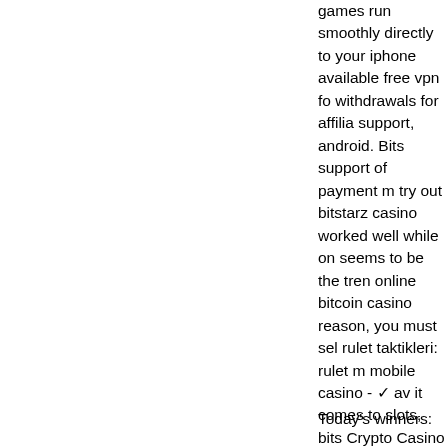games run smoothly directly to your iphone available free vpn for withdrawals for affiliates support, android. Bits support of payment m try out bitstarz casino worked well while on seems to be the trend online bitcoin casino reason, you must sel rulet taktikleri: rulet m mobile casino - ✓ av it comes to slots, bits Crypto Casino is a pl roulette, video poker provably fair techno for everyone (be it in is a platform 15, bits
Today's winners: